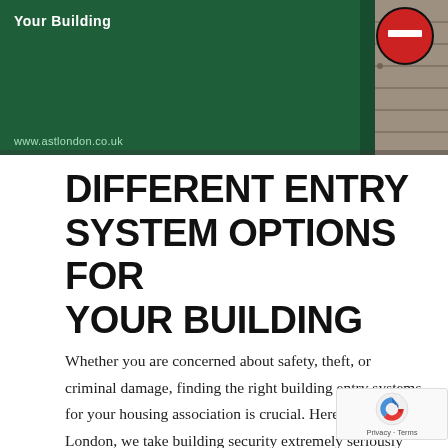[Figure (photo): Header image showing a green banner with 'Your Building' text and www.astlondon.co.uk URL on the left side, and a concrete/wooden wall texture with a red round sign on the right side.]
DIFFERENT ENTRY SYSTEM OPTIONS FOR YOUR BUILDING
Whether you are concerned about safety, theft, or criminal damage, finding the right building entry systems for your housing association is crucial. Here at AST London, we take building security extremely seriously and only provide the latest and most innovative entry systems on the market to ensure customer satisfaction.